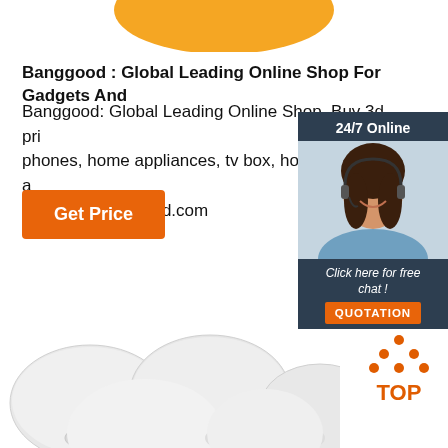[Figure (illustration): Orange rounded shape at the top, partially visible, resembling a product or logo element]
Banggood : Global Leading Online Shop For Gadgets And
Banggood: Global Leading Online Shop. Buy 3d printers, phones, home appliances, tv box, home & garden, at best prices on banggood.com
[Figure (illustration): Orange 'Get Price' button]
[Figure (infographic): 24/7 Online customer service widget with a photo of a woman with headset, 'Click here for free chat!' text and QUOTATION button]
[Figure (photo): White circular NFC tags/discs arranged on white background at the bottom of the page]
[Figure (logo): TOP logo with orange dots arranged in triangle shape above the word TOP in orange]